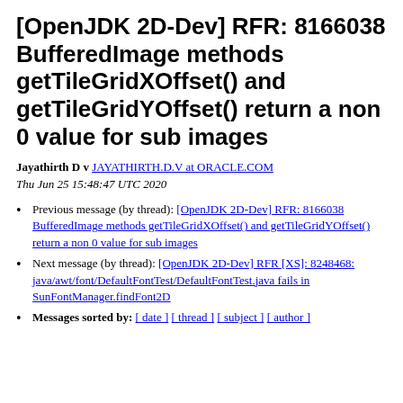[OpenJDK 2D-Dev] RFR: 8166038 BufferedImage methods getTileGridXOffset() and getTileGridYOffset() return a non 0 value for sub images
Jayathirth D v  JAYATHIRTH.D.V at ORACLE.COM
Thu Jun 25 15:48:47 UTC 2020
Previous message (by thread): [OpenJDK 2D-Dev] RFR: 8166038 BufferedImage methods getTileGridXOffset() and getTileGridYOffset() return a non 0 value for sub images
Next message (by thread): [OpenJDK 2D-Dev] RFR [XS]: 8248468: java/awt/font/DefaultFontTest/DefaultFontTest.java fails in SunFontManager.findFont2D
Messages sorted by: [ date ] [ thread ] [ subject ] [ author ]